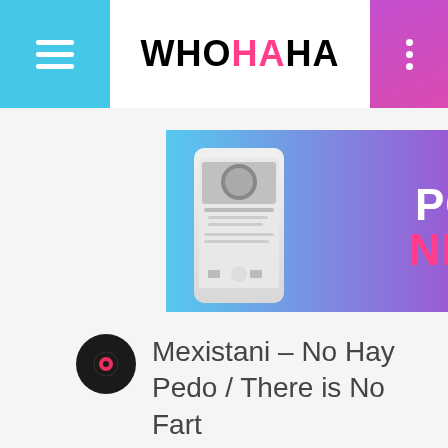WHOHAHA
[Figure (illustration): WhoHaHa Podcast Network promotional banner with two illustrated smartphones, gradient blue-to-purple background, and text reading PODCAST NETWORK with LISTEN NOW button]
Mexistani – No Hay Pedo / There is No Fart